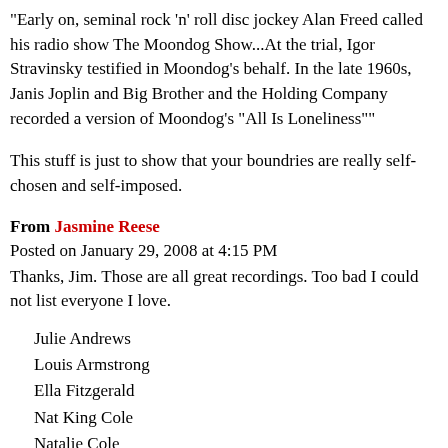"Early on, seminal rock 'n' roll disc jockey Alan Freed called his radio show The Moondog Show...At the trial, Igor Stravinsky testified in Moondog's behalf. In the late 1960s, Janis Joplin and Big Brother and the Holding Company recorded a version of Moondog's "All Is Loneliness""
This stuff is just to show that your boundries are really self-chosen and self-imposed.
From Jasmine Reese
Posted on January 29, 2008 at 4:15 PM
Thanks, Jim. Those are all great recordings. Too bad I could not list everyone I love.
Julie Andrews
Louis Armstrong
Ella Fitzgerald
Nat King Cole
Natalie Cole
Clifford Brown